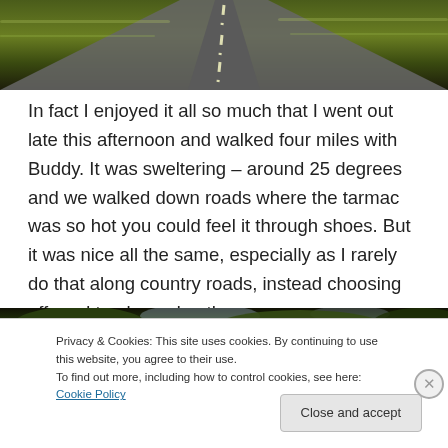[Figure (photo): Top portion of a photo showing a road from a driver's perspective with blurred green fields on either side, motion blur effect, white dashed center line visible.]
In fact I enjoyed it all so much that I went out late this afternoon and walked four miles with Buddy. It was sweltering – around 25 degrees and we walked down roads where the tarmac was so hot you could feel it through shoes. But it was nice all the same, especially as I rarely do that along country roads, instead choosing off road tracks and paths.
[Figure (photo): Bottom portion of a photo showing green tree canopy against a bright sky.]
Privacy & Cookies: This site uses cookies. By continuing to use this website, you agree to their use.
To find out more, including how to control cookies, see here: Cookie Policy